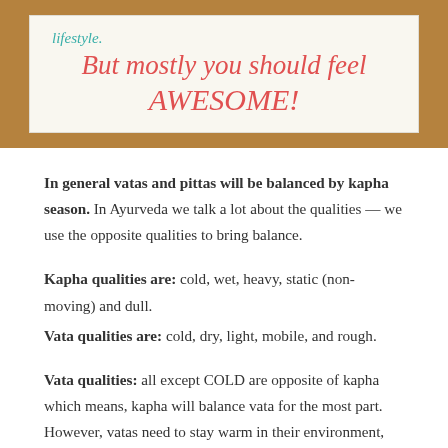[Figure (photo): Handwritten note on a white card with wooden background. Teal handwriting at top reads 'lifestyle.' and red cursive text reads 'But mostly you should feel AWESOME!']
In general vatas and pittas will be balanced by kapha season. In Ayurveda we talk a lot about the qualities — we use the opposite qualities to bring balance.
Kapha qualities are: cold, wet, heavy, static (non-moving) and dull.
Vata qualities are: cold, dry, light, mobile, and rough.
Vata qualities: all except COLD are opposite of kapha which means, kapha will balance vata for the most part. However, vatas need to stay warm in their environment, body and diet in spring.